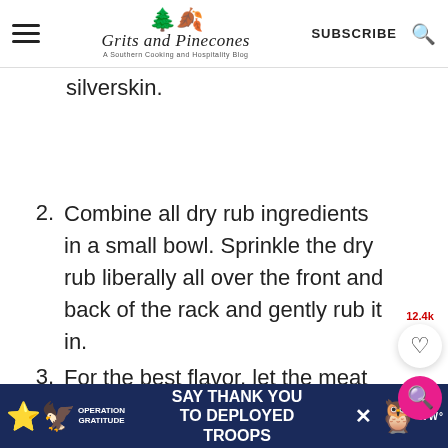Grits and Pinecones — A Southern Cooking and Hospitality Blog | SUBSCRIBE
paper towel and peel it down the length of the meat. Discard the silverskin.
2. Combine all dry rub ingredients in a small bowl. Sprinkle the dry rub liberally all over the front and back of the rack and gently rub it in.
3. For the best flavor, let the meat sit with the rub for at least 30 minutes,
[Figure (screenshot): Operation Gratitude ad banner: SAY THANK YOU TO DEPLOYED TROOPS]
[Figure (other): Social share buttons: save count 12.4k, heart/save button, pink search button]